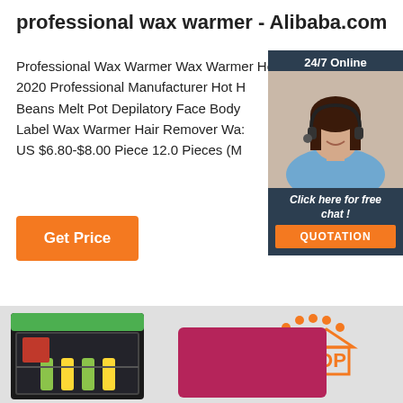professional wax warmer - Alibaba.com
Professional Wax Warmer Wax Warmer Heater 2020 Professional Manufacturer Hot H... Beans Melt Pot Depilatory Face Body... Label Wax Warmer Hair Remover Wa:... US $6.80-$8.00 Piece 12.0 Pieces (M...
[Figure (photo): Customer service representative with headset, 24/7 Online chat widget with 'Click here for free chat!' and QUOTATION button]
[Figure (illustration): Get Price orange button]
[Figure (photo): Mini refrigerator with green top and bottles inside, pink box, TOP logo in orange on gray background]